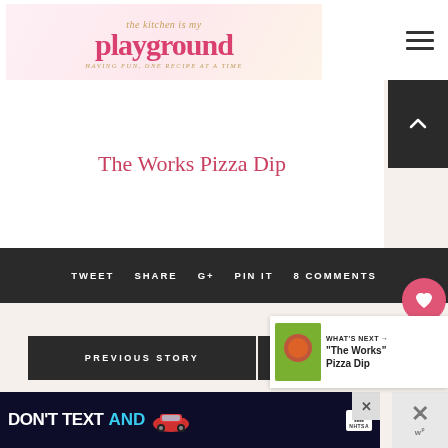the Kitchen is my playground
The Works Pizza Dip
TWEET   SHARE   G+   PIN IT   8 COMMENTS
PREVIOUS STORY
NEXT STO...
WHAT'S NEXT → "The Works" Pizza Dip
[Figure (screenshot): Ad banner: DON'T TEXT AND [car graphic] with NHTSA logo]